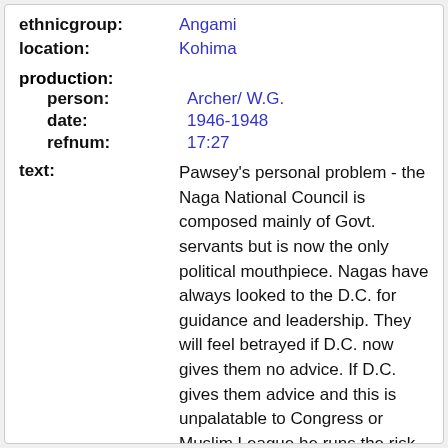ethnicgroup: Angami
location: Kohima
production:
person: Archer/ W.G.
date: 1946-1948
refnum: 17:27
text: Pawsey's personal problem - the Naga National Council is composed mainly of Govt. servants but is now the only political mouthpiece. Nagas have always looked to the D.C. for guidance and leadership. They will feel betrayed if D.C. now gives them no advice. If D.C. gives them advice and this is unpalatable to Congress or Muslim League he runs the risk of transfer. Today's 'Statesman' quotes a statement by Saderullah quoting some Nagas who demand complete